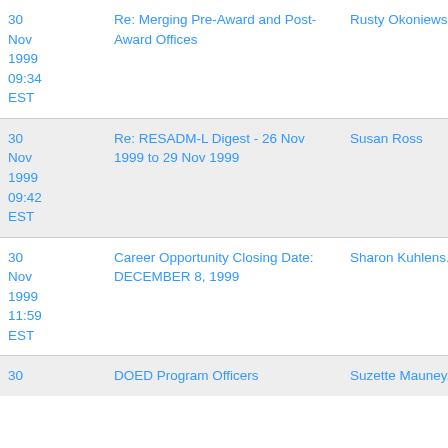| Date | Subject | Sender |
| --- | --- | --- |
| 30 Nov 1999 09:34 EST | Re: Merging Pre-Award and Post-Award Offices | Rusty Okoniews... |
| 30 Nov 1999 09:42 EST | Re: RESADM-L Digest - 26 Nov 1999 to 29 Nov 1999 | Susan Ross |
| 30 Nov 1999 11:59 EST | Career Opportunity Closing Date: DECEMBER 8, 1999 | Sharon Kuhlens... |
| 30 | DOED Program Officers | Suzette Mauney... |